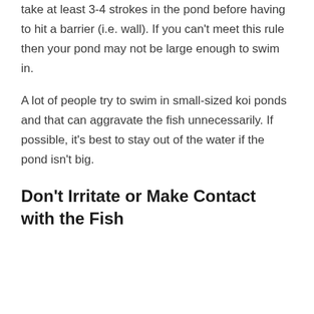take at least 3-4 strokes in the pond before having to hit a barrier (i.e. wall). If you can't meet this rule then your pond may not be large enough to swim in.
A lot of people try to swim in small-sized koi ponds and that can aggravate the fish unnecessarily. If possible, it's best to stay out of the water if the pond isn't big.
Don't Irritate or Make Contact with the Fish